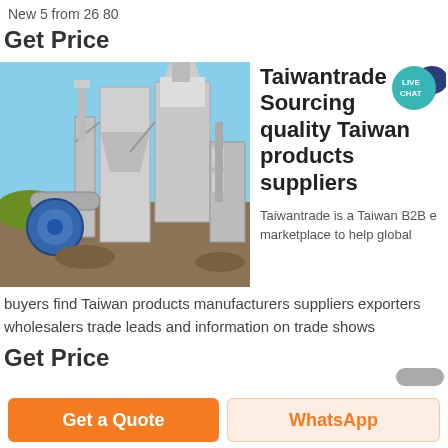New 5 from 26 80
Get Price
[Figure (photo): Industrial grinding mill machinery outdoors, white large equipment with cyclone separators and pipes against blue sky]
Taiwantrade Sourcing quality Taiwan products suppliers
Taiwantrade is a Taiwan B2B e marketplace to help global buyers find Taiwan products manufacturers suppliers exporters wholesalers trade leads and information on trade shows
Get Price
Get a Quote
WhatsApp